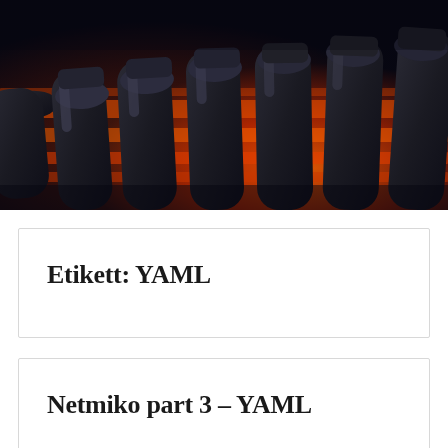[Figure (photo): Close-up photo of multiple dark ethernet/network cables with orange/red glowing light between them, shot from a low angle perspective]
Etikett: YAML
Netmiko part 3 – YAML